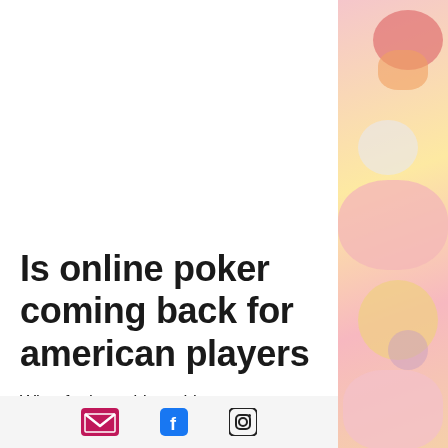Is online poker coming back for american players
What further adds to this payment method merits is that gamblers are less likely to spend more money than they initially intended as they can only wager the money they already have in their account, which
[Figure (illustration): Decorative cartoon illustration on right side of page showing colorful stylized figures/characters with pink, yellow, and red tones]
Email icon, Facebook icon, Instagram icon social media links